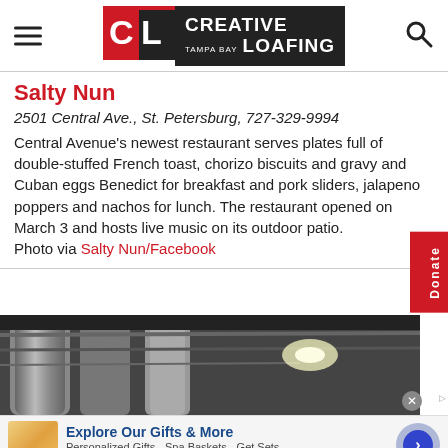Creative Loafing Tampa Bay
Salty Nun
2501 Central Ave., St. Petersburg, 727-329-9994
Central Avenue's newest restaurant serves plates full of double-stuffed French toast, chorizo biscuits and gravy and Cuban eggs Benedict for breakfast and pork sliders, jalapeno poppers and nachos for lunch. The restaurant opened on March 3 and hosts live music on its outdoor patio. Photo via Salty Nun/Facebook
[Figure (photo): Interior photo of Salty Nun restaurant showing industrial brewery-style equipment and ceiling]
Explore Our Gifts & More
Personalized Gifts - Spa Baskets - Get Sets
www.1800flowers.com